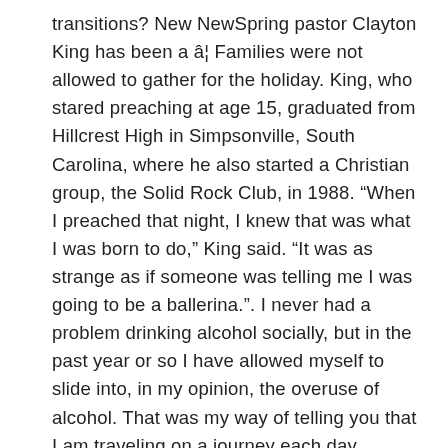transitions? New NewSpring pastor Clayton King has been a â¦ Families were not allowed to gather for the holiday. King, who stared preaching at age 15, graduated from Hillcrest High in Simpsonville, South Carolina, where he also started a Christian group, the Solid Rock Club, in 1988. “When I preached that night, I knew that was what I was born to do,” King said. “It was as strange as if someone was telling me I was going to be a ballerina.”. I never had a problem drinking alcohol socially, but in the past year or so I have allowed myself to slide into, in my opinion, the overuse of alcohol. That was my way of telling you that I am traveling on a journey each day alongside each one of you to try to take my next step to become more like Jesus. President of Clayton King Ministries. “Over the course of several months our executive pastors met with and discussed at length with Perry these concerns regarding his personal behavior and his spiritual walk, Perry’s posture towards marriage,